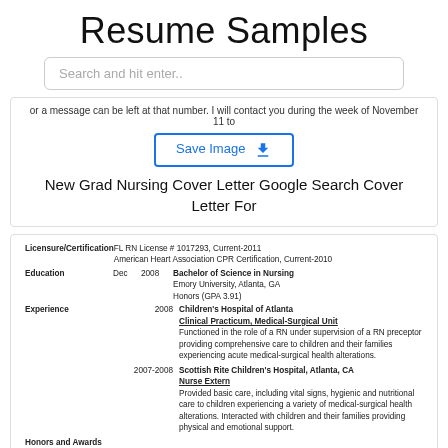Resume Samples
Search and hit enter..
or a message can be left at that number. I will contact you during the week of November 11 to
Save Image
New Grad Nursing Cover Letter Google Search Cover Letter For
| Licensure/Certification |  |  |
| --- | --- | --- |
|  | FL RN License # 1017293, Current-2011 |  |
|  | American Heart Association CPR Certification, Current-2010 |  |
| Education |  |  |
| Dec | 2008 | Bachelor of Science in Nursing |
|  |  | Emory University, Atlanta, GA |
|  |  | Honors (GPA 3.91) |
| Experience |  |  |
|  | 2008 | Children's Hospital of Atlanta |
|  |  | Clinical Practicum, Medical-Surgical Unit |
|  |  | Functioned in the role of a RN under supervision of a RN preceptor providing comprehensive care to children and their families experiencing acute medical-surgical health alterations. |
|  | 2007-2008 | Scottish Rite Children's Hospital, Atlanta, CA |
|  |  | Nurse Extern |
|  |  | Provided basic care, including vital signs, hygienic and nutritional care to children experiencing a variety of medical-surgical health alterations. Interacted with children and their families providing physical and emotional support. |
| Honors and Awards |  |  |
Save Image